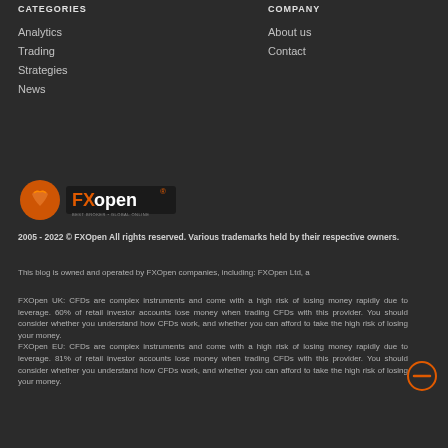CATEGORIES
Analytics
Trading
Strategies
News
COMPANY
About us
Contact
[Figure (logo): FXOpen logo with orange dragon mascot and FXOpen text in orange and white]
2005 - 2022 © FXOpen All rights reserved. Various trademarks held by their respective owners.
This blog is owned and operated by FXOpen companies, including: FXOpen Ltd, a
FXOpen UK: CFDs are complex instruments and come with a high risk of losing money rapidly due to leverage. 60% of retail investor accounts lose money when trading CFDs with this provider. You should consider whether you understand how CFDs work, and whether you can afford to take the high risk of losing your money. FXOpen EU: CFDs are complex instruments and come with a high risk of losing money rapidly due to leverage. 81% of retail investor accounts lose money when trading CFDs with this provider. You should consider whether you understand how CFDs work, and whether you can afford to take the high risk of losing your money.